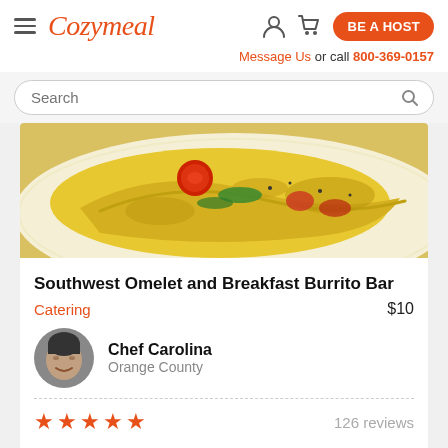Cozymeal — BE A HOST — Message Us or call 800-369-0157
Search
[Figure (photo): Close-up photo of a Southwest omelet with tomatoes and greens on a white plate]
Southwest Omelet and Breakfast Burrito Bar
Catering  $10
Chef Carolina
Orange County
★★★★★  126 reviews